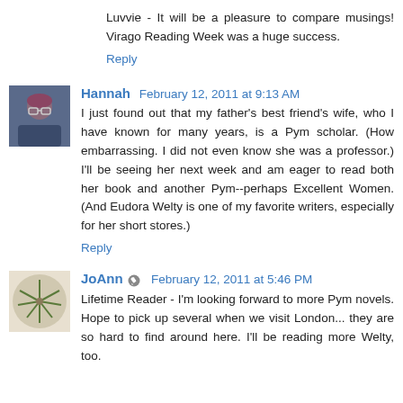Luvvie - It will be a pleasure to compare musings! Virago Reading Week was a huge success.
Reply
Hannah  February 12, 2011 at 9:13 AM
I just found out that my father's best friend's wife, who I have known for many years, is a Pym scholar. (How embarrassing. I did not even know she was a professor.) I'll be seeing her next week and am eager to read both her book and another Pym--perhaps Excellent Women. (And Eudora Welty is one of my favorite writers, especially for her short stores.)
Reply
JoAnn  February 12, 2011 at 5:46 PM
Lifetime Reader - I'm looking forward to more Pym novels. Hope to pick up several when we visit London... they are so hard to find around here. I'll be reading more Welty, too.